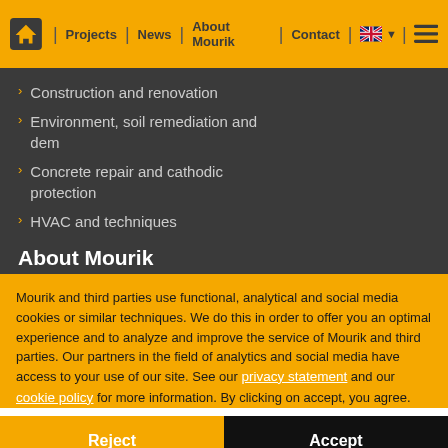Home | Projects | News | About Mourik | Contact | [flag] [menu]
Construction and renovation
Environment, soil remediation and dem
Concrete repair and cathodic protection
HVAC and techniques
About Mourik
Mourik and third parties use functional, analytical and social media cookies or similar techniques. We do this in order to offer you an optimal experience and to analyze and improve the service of Mourik and third parties. Our partners in the field of analytics and social media have access to your use of our site. See our privacy statement and our cookie policy for more information. By clicking on accept, you agree.
Reject
Accept